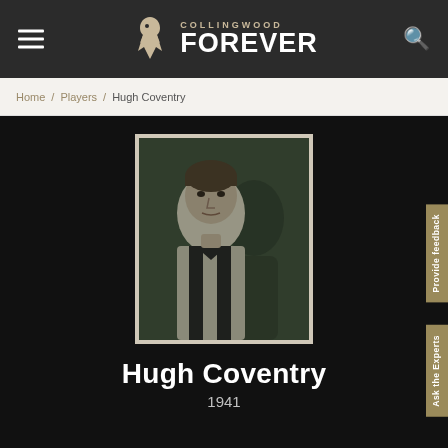Collingwood Forever
Home / Players / Hugh Coventry
[Figure (photo): Black and white historical photograph of Hugh Coventry wearing a Collingwood black and white striped football guernsey, circa 1941.]
Hugh Coventry
1941